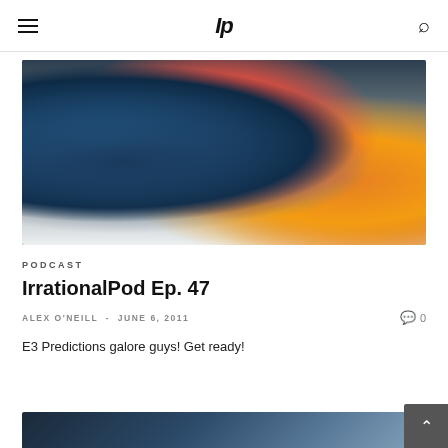IP
[Figure (photo): Blurred photo showing a handheld gaming device being held, with red and blue shapes and text overlaid, along with orange/yellow elements on the right side]
PODCAST
IrrationalPod Ep. 47
ALEX O'NEILL  -  JUNE 6, 2011
0
E3 Predictions galore guys! Get ready!
[Figure (photo): Partial blurred photo strip at the bottom of the page]